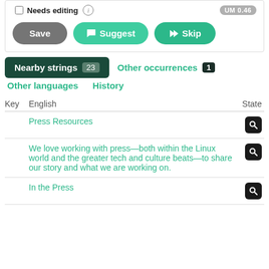[Figure (screenshot): UI panel with checkbox 'Needs editing', info icon, UM badge, and three buttons: Save (gray), Suggest (teal with chat icon), Skip (teal with skip icon)]
[Figure (screenshot): Tab navigation: 'Nearby strings 23' (active, dark green), 'Other occurrences 1', 'Other languages', 'History']
| Key | English | State |
| --- | --- | --- |
|  | Press Resources | 🔍 |
|  | We love working with press—both within the Linux world and the greater tech and culture beats—to share our story and what we are working on. | 🔍 |
|  | In the Press | 🔍 |